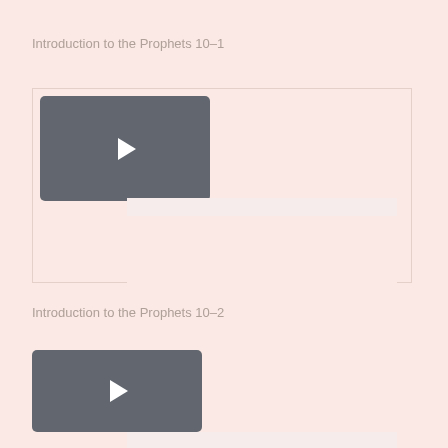Introduction to the Prophets 10–1
[Figure (screenshot): Video player thumbnail with dark grey play button rectangle and content area below with a progress bar]
Introduction to the Prophets 10–2
[Figure (screenshot): Video player thumbnail with dark grey play button rectangle and content area below with a progress bar]